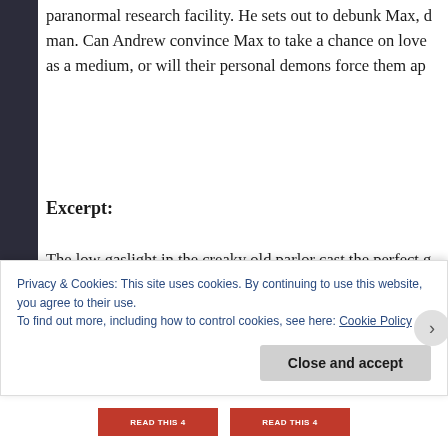paranormal research facility. He sets out to debunk Max, d man. Can Andrew convince Max to take a chance on love as a medium, or will their personal demons force them ap
Excerpt:
The low gaslight in the creaky old parlor cast the perfect g lending atmosphere to the cheap crimson cloth Max had c two would complete the look, but he wouldn't light them ur family assembled in the room.
He surveyed the seating. Seven chairs.
Max blinked, then frowned. He'd been told five family men
Privacy & Cookies: This site uses cookies. By continuing to use this website, you agree to their use.
To find out more, including how to control cookies, see here: Cookie Policy
Close and accept